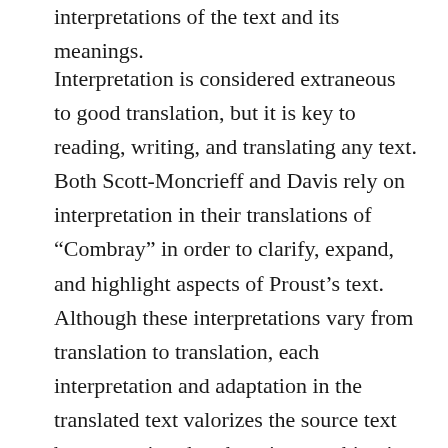interpretations of the text and its meanings.
Interpretation is considered extraneous to good translation, but it is key to reading, writing, and translating any text. Both Scott-Moncrieff and Davis rely on interpretation in their translations of “Combray” in order to clarify, expand, and highlight aspects of Proust’s text. Although these interpretations vary from translation to translation, each interpretation and adaptation in the translated text valorizes the source text by suggesting that there is something in which to take interest and with which to engage. In comparing these two translations—one, the classic, the other, an up-and-comer—it is possible to compare methods of translation and see their shortcomings or strong points more clearly than by addressing a translation alone, which reveals innovations